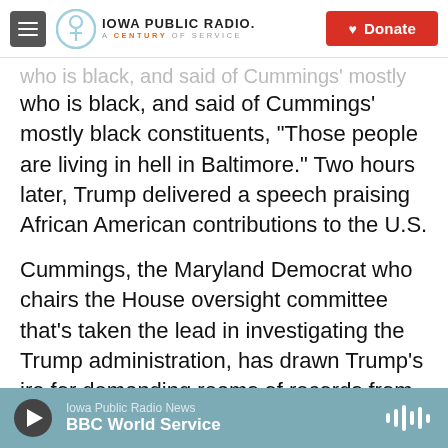Iowa Public Radio. A Century of Service. Donate
who is black, and said of Cummings' mostly black constituents, "Those people are living in hell in Baltimore." Two hours later, Trump delivered a speech praising African American contributions to the U.S.
Cummings, the Maryland Democrat who chairs the House oversight committee that's taken the lead in investigating the Trump administration, has drawn Trump's ire for demanding reams of records from the White House, most recently, messages from Trump's daughter Ivanka and son-in-law Jared Kushner, who serve as presidential advisers.
Iowa Public Radio News | BBC World Service